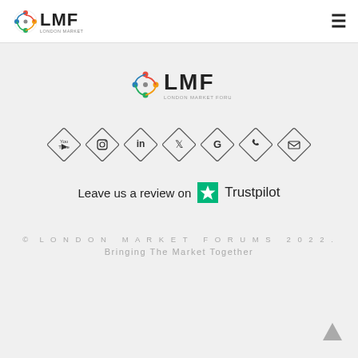LMF London Market Forums
[Figure (logo): LMF London Market Forums logo centered on page]
[Figure (infographic): Row of 7 diamond-shaped social media icons: YouTube, Instagram, LinkedIn, Twitter, Google, WhatsApp, Email]
Leave us a review on Trustpilot
© LONDON MARKET FORUMS 2022. Bringing The Market Together